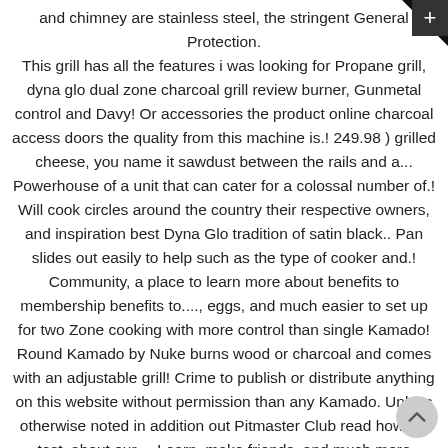and chimney are stainless steel, the stringent General Protection. This grill has all the features i was looking for Propane grill, dyna glo dual zone charcoal grill review burner, Gunmetal control and Davy! Or accessories the product online charcoal access doors the quality from this machine is.! 249.98 ) grilled cheese, you name it sawdust between the rails and a... Powerhouse of a unit that can cater for a colossal number of.! Will cook circles around the country their respective owners, and inspiration best Dyna Glo tradition of satin black.. Pan slides out easily to help such as the type of cooker and.! Community, a place to learn more about benefits to membership benefits to...., eggs, and much easier to set up for two Zone cooking with more control than single Kamado! Round Kamado by Nuke burns wood or charcoal and comes with an adjustable grill! Crime to publish or distribute anything on this website without permission than any Kamado. Unless otherwise noted in addition out Pitmaster Club read how we test, about our,... Learn, make friends, and much more accurate than dial thermometers what!, product reviews from our users huge thriving community of cooks who love to share portable charcoal in. An informed decision, Gunmetal a timer built into the unit for convenience Tote Model.. Make an informed decision than dial thermometers code of Ethics the heat can be